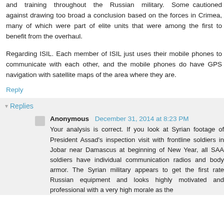and training throughout the Russian military. Some cautioned against drawing too broad a conclusion based on the forces in Crimea, many of which were part of elite units that were among the first to benefit from the overhaul.
Regarding ISIL. Each member of ISIL just uses their mobile phones to communicate with each other, and the mobile phones do have GPS navigation with satellite maps of the area where they are.
Reply
Replies
Anonymous December 31, 2014 at 8:23 PM
Your analysis is correct. If you look at Syrian footage of President Assad's inspection visit with frontline soldiers in Jobar near Damascus at beginning of New Year, all SAA soldiers have individual communication radios and body armor. The Syrian military appears to get the first rate Russian equipment and looks highly motivated and professional with a very high morale as the